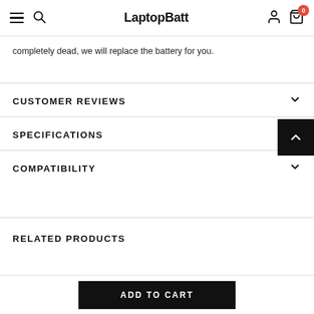LaptopBatt
completely dead, we will replace the battery for you.
CUSTOMER REVIEWS
SPECIFICATIONS
COMPATIBILITY
RELATED PRODUCTS
ADD TO CART